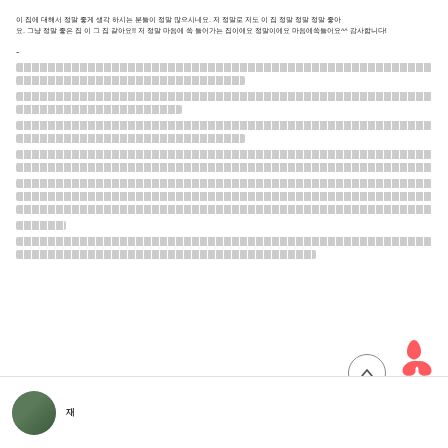이 집에 대해서 정말 좋게 생각 하시는 분들이 정말 많으시네요. 저 정말로 저도 이 집 정말 정말 정말 좋아요. 그냥 정말 좋은 집 이 그 집 같아요!! 저 정말 마음에 쏙 들어가는 집이에요 정말이에요 마음에쏙들어요^^ 감사합니다!
-
[redacted review content in Korean]